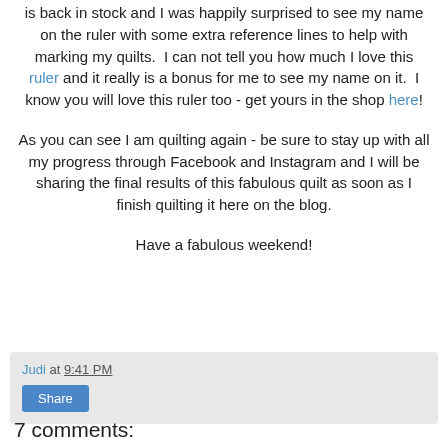is back in stock and I was happily surprised to see my name on the ruler with some extra reference lines to help with marking my quilts.  I can not tell you how much I love this ruler and it really is a bonus for me to see my name on it.  I know you will love this ruler too - get yours in the shop here!
As you can see I am quilting again - be sure to stay up with all my progress through Facebook and Instagram and I will be sharing the final results of this fabulous quilt as soon as I finish quilting it here on the blog.
Have a fabulous weekend!
Judi at 9:41 PM
Share
7 comments: